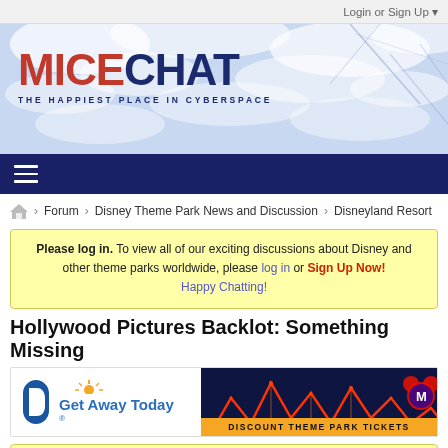Login or Sign Up ▾
[Figure (logo): MiceChat logo with tagline THE HAPPIEST PLACE IN CYBERSPACE on a blue cloudy background banner]
≡ (navigation menu hamburger icon)
🏠 › Forum › Disney Theme Park News and Discussion › Disneyland Resort
Please log in. To view all of our exciting discussions about Disney and other theme parks worldwide, please log in or Sign Up Now! Happy Chatting!
Hollywood Pictures Backlot: Something Missing
[Figure (screenshot): Get Away Today advertisement banner showing roller coaster at night with Mickey Mouse and DISCOUNT THEME PARK TICKETS text]
This topic is closed.